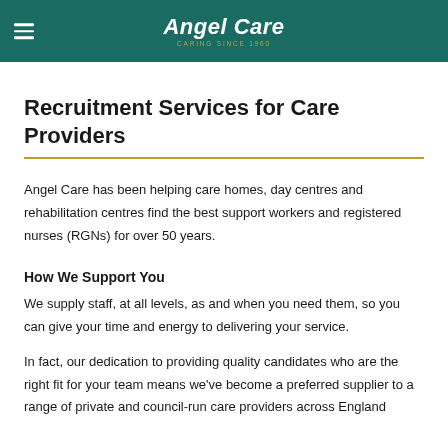Angel Care
Recruitment Services for Care Providers
Angel Care has been helping care homes, day centres and rehabilitation centres find the best support workers and registered nurses (RGNs) for over 50 years.
How We Support You
We supply staff, at all levels, as and when you need them, so you can give your time and energy to delivering your service.
In fact, our dedication to providing quality candidates who are the right fit for your team means we've become a preferred supplier to a range of private and council-run care providers across England